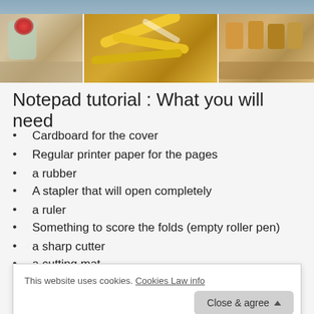[Figure (photo): Collage of three photos: left shows a table with a flower vase and books in warm tones, center shows a yellow measuring tape tangled with rubber bands and cords, right shows spools of thread and sewing supplies in a box.]
Notepad tutorial : What you will need
Cardboard for the cover
Regular printer paper for the pages
a rubber
A stapler that will open completely
a ruler
Something to score the folds (empty roller pen)
a sharp cutter
a cutting mat
This website uses cookies. Cookies Law info
Close & agree
P